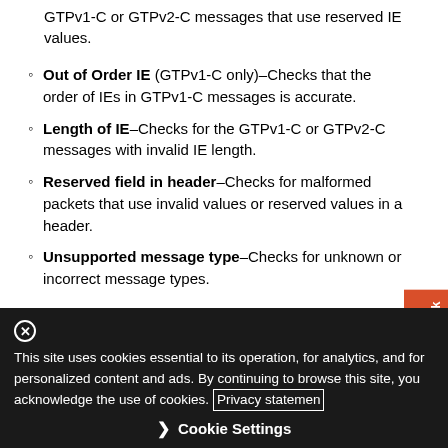GTPv1-C or GTPv2-C messages that use reserved IE values.
Out of Order IE (GTPv1-C only)–Checks that the order of IEs in GTPv1-C messages is accurate.
Length of IE–Checks for the GTPv1-C or GTPv2-C messages with invalid IE length.
Reserved field in header–Checks for malformed packets that use invalid values or reserved values in a header.
Unsupported message type–Checks for unknown or incorrect message types.
This site uses cookies essential to its operation, for analytics, and for personalized content and ads. By continuing to browse this site, you acknowledge the use of cookies. Privacy statement Cookie Settings